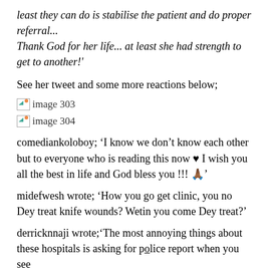least they can do is stabilise the patient and do proper referral... Thank God for her life... at least she had strength to get to another!'
See her tweet and some more reactions below;
[Figure (photo): image 303]
[Figure (photo): image 304]
comediankoloboy; ‘I know we don’t know each other but to everyone who is reading this now ♥ I wish you all the best in life and God bless you !!! 🙏🏾’
midefwesh wrote; ‘How you go get clinic, you no Dey treat knife wounds? Wetin you come Dey treat?’
derricknnaji wrote;‘The most annoying things about these hospitals is asking for police report when you see...